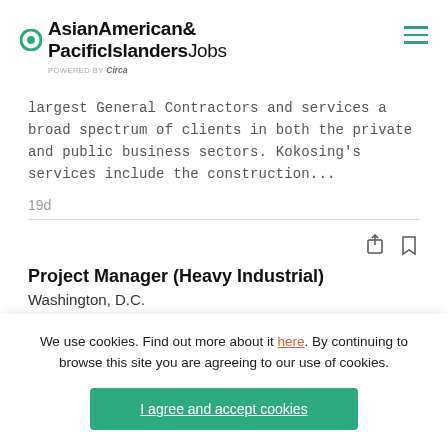AsianAmerican& PacificIslandersJobs powered by Circa
largest General Contractors and services a broad spectrum of clients in both the private and public business sectors. Kokosing's services include the construction...
19d
Project Manager (Heavy Industrial)
Washington, D.C.
We use cookies. Find out more about it here. By continuing to browse this site you are agreeing to our use of cookies.
I agree and accept cookies